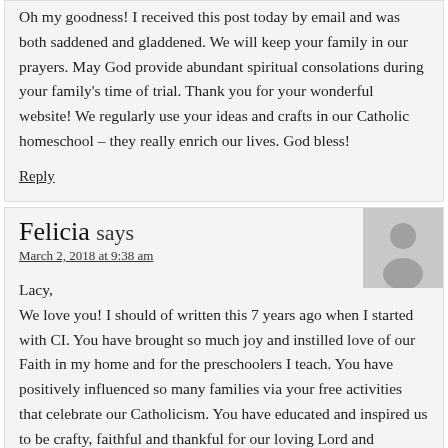Oh my goodness! I received this post today by email and was both saddened and gladdened. We will keep your family in our prayers. May God provide abundant spiritual consolations during your family's time of trial. Thank you for your wonderful website! We regularly use your ideas and crafts in our Catholic homeschool – they really enrich our lives. God bless!
Reply
Felicia says
March 2, 2018 at 9:38 am
Lacy,
We love you! I should of written this 7 years ago when I started with CI. You have brought so much joy and instilled love of our Faith in my home and for the preschoolers I teach. You have positively influenced so many families via your free activities that celebrate our Catholicism. You have educated and inspired us to be crafty, faithful and thankful for our loving Lord and traditions. Your personal life is none of our business, so much respect for your integrity in sharing the past 2 yrs. You don't owe us anything.